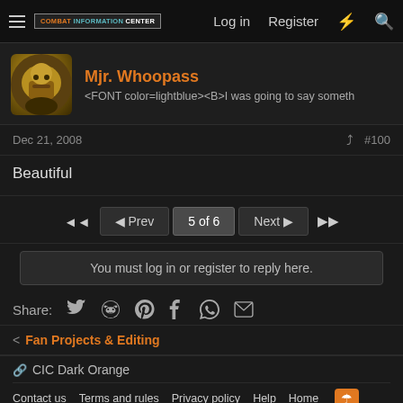COMBAT INFORMATION CENTER | Log in | Register
Mjr. Whoopass
<FONT color=lightblue><B>I was going to say someth
Dec 21, 2008  #100
Beautiful
◄◄  ◄ Prev  5 of 6  Next ►  ►►
You must log in or register to reply here.
Share:
< Fan Projects & Editing
🔗 CIC Dark Orange  Contact us  Terms and rules  Privacy policy  Help  Home